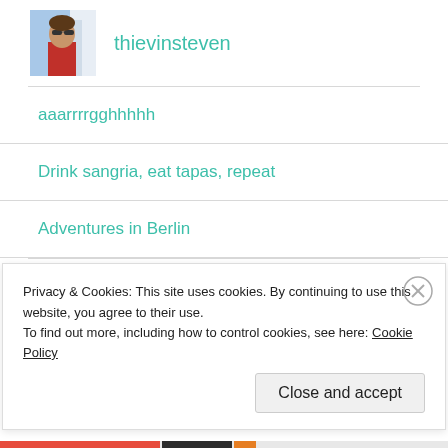[Figure (photo): Profile photo of a man with sunglasses wearing a red shirt, with a blue/white background.]
thievinsteven
aaarrrrgghhhhh
Drink sangria, eat tapas, repeat
Adventures in Berlin
ARCHIVES
Privacy & Cookies: This site uses cookies. By continuing to use this website, you agree to their use.
To find out more, including how to control cookies, see here: Cookie Policy
Close and accept